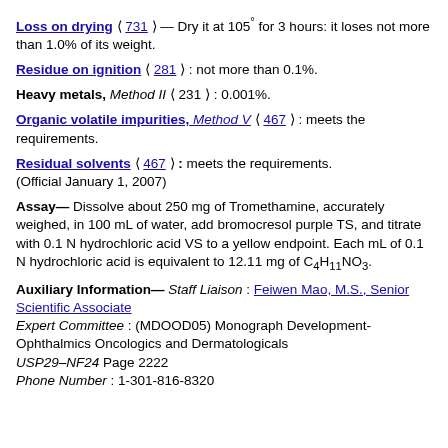Loss on drying 〈731〉— Dry it at 105° for 3 hours: it loses not more than 1.0% of its weight.
Residue on ignition 〈281〉: not more than 0.1%.
Heavy metals, Method II 〈231〉: 0.001%.
Organic volatile impurities, Method V 〈467〉: meets the requirements.
Residual solvents 〈467〉: meets the requirements. (Official January 1, 2007)
Assay— Dissolve about 250 mg of Tromethamine, accurately weighed, in 100 mL of water, add bromocresol purple TS, and titrate with 0.1 N hydrochloric acid VS to a yellow endpoint. Each mL of 0.1 N hydrochloric acid is equivalent to 12.11 mg of C4H11NO3.
Auxiliary Information— Staff Liaison : Feiwen Mao, M.S., Senior Scientific Associate Expert Committee : (MDOOD05) Monograph Development-Ophthalmics Oncologics and Dermatologicals USP29–NF24 Page 2222 Phone Number : 1-301-816-8320